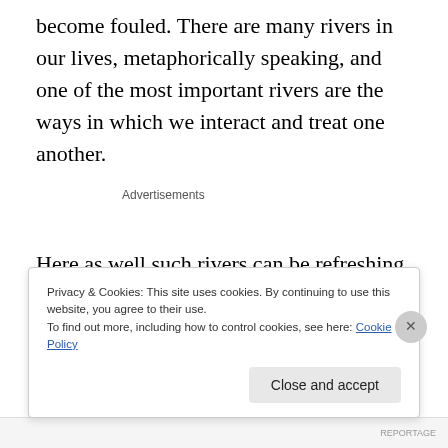become fouled. There are many rivers in our lives, metaphorically speaking, and one of the most important rivers are the ways in which we interact and treat one another.
Advertisements
Here as well such rivers can be refreshing or polluted by each individual and once a river between peoples becomes
Privacy & Cookies: This site uses cookies. By continuing to use this website, you agree to their use.
To find out more, including how to control cookies, see here: Cookie Policy
Close and accept